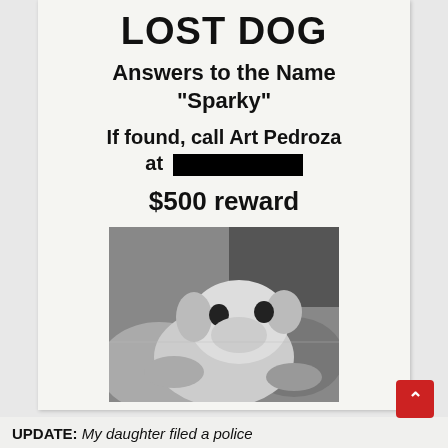LOST DOG
Answers to the Name "Sparky"
If found, call Art Pedroza at [REDACTED]
$500 reward
[Figure (photo): Black and white photo of a small dog (appears to be a Chihuahua or similar breed) being held by a person. The dog is looking at the camera.]
UPDATE: My daughter filed a police